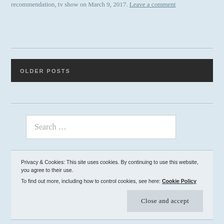recommendation, tv show on March 9, 2017. Leave a comment
OLDER POSTS
Search ...
Privacy & Cookies: This site uses cookies. By continuing to use this website, you agree to their use.
To find out more, including how to control cookies, see here: Cookie Policy
Close and accept